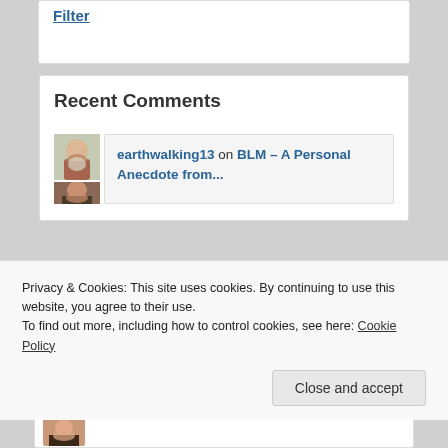Filter
Recent Comments
earthwalking13 on BLM – A Personal Anecdote from…
Privacy & Cookies: This site uses cookies. By continuing to use this website, you agree to their use.
To find out more, including how to control cookies, see here: Cookie Policy
Close and accept